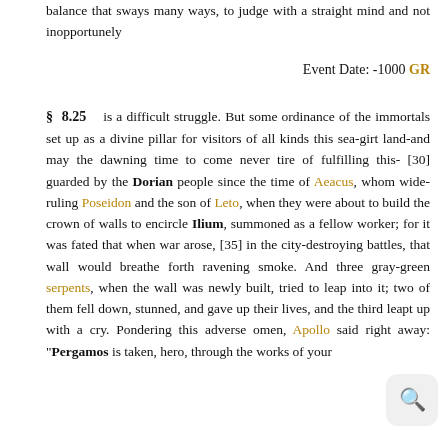balance that sways many ways, to judge with a straight mind and not inopportunely
Event Date: -1000 GR
§ 8.25   is a difficult struggle. But some ordinance of the immortals set up as a divine pillar for visitors of all kinds this sea-girt land-and may the dawning time to come never tire of fulfilling this- [30] guarded by the Dorian people since the time of Aeacus, whom wide-ruling Poseidon and the son of Leto, when they were about to build the crown of walls to encircle Ilium, summoned as a fellow worker; for it was fated that when war arose, [35] in the city-destroying battles, that wall would breathe forth ravening smoke. And three gray-green serpents, when the wall was newly built, tried to leap into it; two of them fell down, stunned, and gave up their lives, and the third leapt up with a cry. Pondering this adverse omen, Apollo said right away: "Pergamos is taken, hero, through the works of your